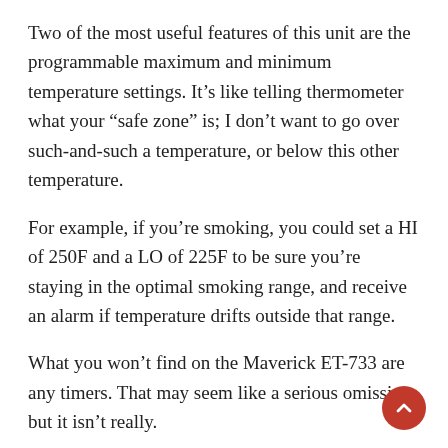Two of the most useful features of this unit are the programmable maximum and minimum temperature settings. It’s like telling thermometer what your “safe zone” is; I don’t want to go over such-and-such a temperature, or below this other temperature.
For example, if you’re smoking, you could set a HI of 250F and a LO of 225F to be sure you’re staying in the optimal smoking range, and receive an alarm if temperature drifts outside that range.
What you won’t find on the Maverick ET-733 are any timers. That may seem like a serious omission, but it isn’t really.